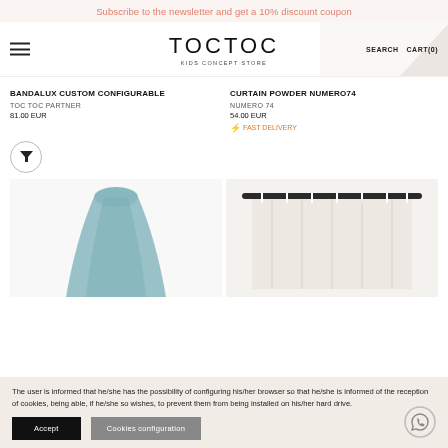Subscribe to the newsletter and get a 10% discount coupon
[Figure (screenshot): TocToc Kids Concept Store header with logo, menu icon, SEARCH and CART(0) navigation]
BANDALUX CUSTOM CONFIGURABLE
TOC TOC PARTNER
81.00 EUR
CURTAIN POWDER NUMERO74
NUMERO 74
54.00 EUR
⚡ FAST DELIVERY
[Figure (illustration): Filter icon button (funnel/filter symbol) in a circular button]
[Figure (photo): Blue/teal canopy hanging product photo]
[Figure (photo): White curtain on dark rod product photo]
The user is informed that he/she has the possibility of configuring his/her browser so that he/she is informed of the reception of cookies, being able, if he/she so wishes, to prevent them from being installed on his/her hard drive.
Accept
Cookies configuration